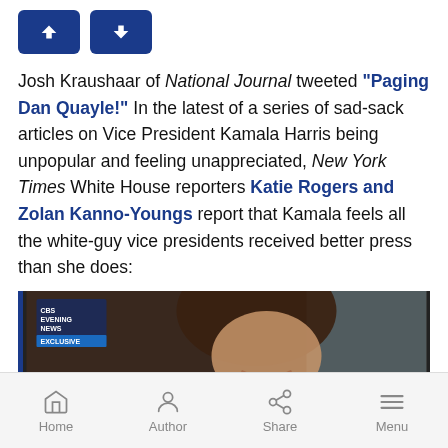[Figure (other): Navigation up and down arrow buttons in dark blue]
Josh Kraushaar of National Journal tweeted "Paging Dan Quayle!" In the latest of a series of sad-sack articles on Vice President Kamala Harris being unpopular and feeling unappreciated, New York Times White House reporters Katie Rogers and Zolan Kanno-Youngs report that Kamala feels all the white-guy vice presidents received better press than she does:
[Figure (photo): CBS Evening News Exclusive screenshot showing Kamala Harris]
Home  Author  Share  Menu